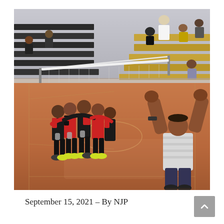[Figure (photo): Volleyball team celebrating on an indoor gymnasium court. Several players in black and red uniforms are hugging and cheering together near the net on the left side. A coach or player in a light-colored striped shirt stands on the right with both arms raised in celebration. Spectators are seated in the bleachers in the background, some wearing masks. The gym floor is a warm brown wood color.]
September 15, 2021 – By NJP